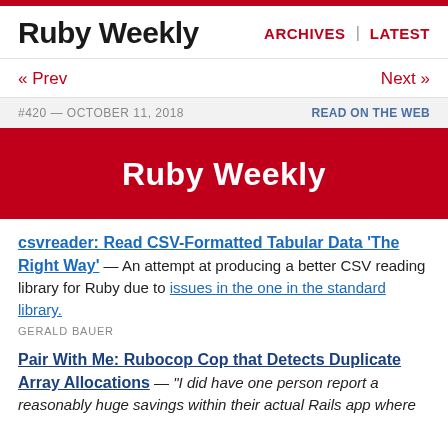Ruby Weekly | ARCHIVES | LATEST
« Prev    Next »
#420 — OCTOBER 11, 2018    READ ON THE WEB
Ruby Weekly
csvreader: Read CSV-Formatted Tabular Data 'The Right Way' — An attempt at producing a better CSV reading library for Ruby due to issues in the one in the standard library. GERALD BAUER
Pair With Me: Rubocop Cop that Detects Duplicate Array Allocations — "I did have one person report a reasonably huge savings within their actual Rails app where